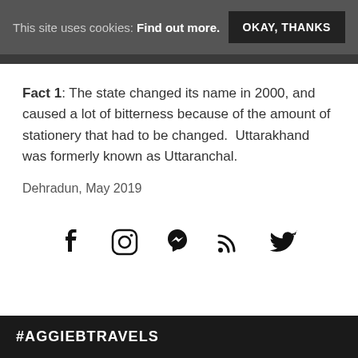This site uses cookies: Find out more.  OKAY, THANKS
Fact 1: The state changed its name in 2000, and caused a lot of bitterness because of the amount of stationery that had to be changed.  Uttarakhand was formerly known as Uttaranchal.
Dehradun, May 2019
[Figure (other): Social media icons: Facebook, Instagram, Pinterest, RSS feed, Twitter]
#AGGIEBTRAVELS